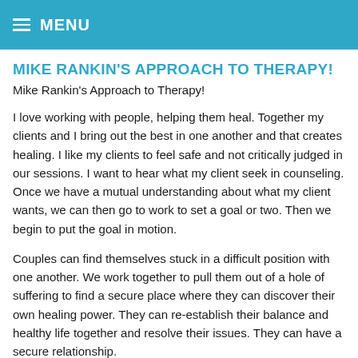MENU
MIKE RANKIN'S APPROACH TO THERAPY!
Mike Rankin's Approach to Therapy!
I love working with people, helping them heal. Together my clients and I bring out the best in one another and that creates healing. I like my clients to feel safe and not critically judged in our sessions. I want to hear what my client seek in counseling. Once we have a mutual understanding about what my client wants, we can then go to work to set a goal or two. Then we begin to put the goal in motion.
Couples can find themselves stuck in a difficult position with one another. We work together to pull them out of a hole of suffering to find a secure place where they can discover their own healing power. They can re-establish their balance and healthy life together and resolve their issues. They can have a secure relationship.